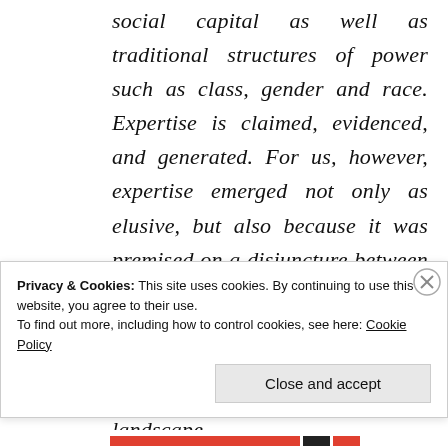social capital as well as traditional structures of power such as class, gender and race. Expertise is claimed, evidenced, and generated. For us, however, expertise emerged not only as elusive, but also because it was premised on a disjuncture between lived and everyday youth, and the promises of becoming in a future orientated (technological, imaginary and creative) landscape.
Privacy & Cookies: This site uses cookies. By continuing to use this website, you agree to their use.
To find out more, including how to control cookies, see here: Cookie Policy